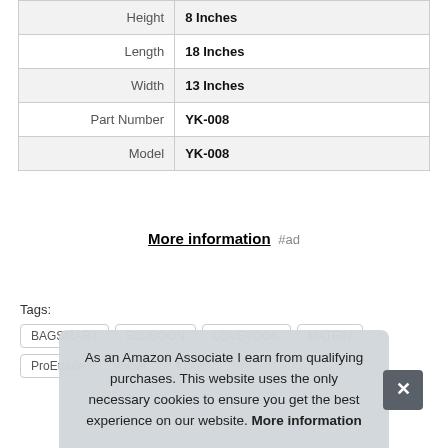| Height | 8 Inches |
| Length | 18 Inches |
| Width | 13 Inches |
| Part Number | YK-008 |
| Model | YK-008 |
More information #ad
Tags: BAGSMART BLUBOON LOVEVOOK MATEIN ProEtrade Volher Ytonet
As an Amazon Associate I earn from qualifying purchases. This website uses the only necessary cookies to ensure you get the best experience on our website. More information